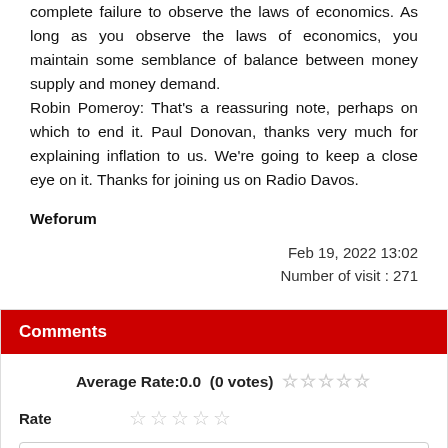complete failure to observe the laws of economics. As long as you observe the laws of economics, you maintain some semblance of balance between money supply and money demand.
Robin Pomeroy: That's a reassuring note, perhaps on which to end it. Paul Donovan, thanks very much for explaining inflation to us. We're going to keep a close eye on it. Thanks for joining us on Radio Davos.
Weforum
Feb 19, 2022 13:02
Number of visit : 271
Comments
Average Rate:0.0  (0 votes) ☆☆☆☆☆
Rate ☆☆☆☆☆
Sender Name